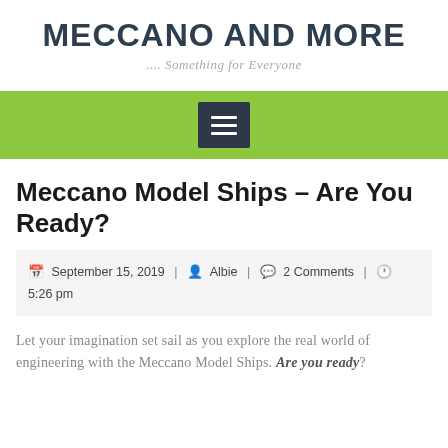MECCANO AND MORE
.... Something for Everyone
[Figure (other): Green navigation bar with hamburger menu icon (three white horizontal lines on dark background)]
Meccano Model Ships – Are You Ready?
September 15, 2019  |  Albie  |  2 Comments  |  5:26 pm
Let your imagination set sail as you explore the real world of engineering with the Meccano Model Ships. Are you ready?